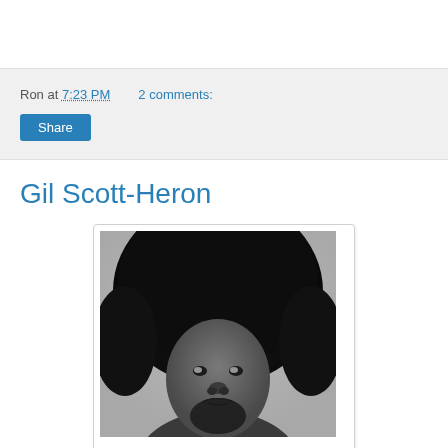Ron at 7:23 PM    2 comments:
Share
Gil Scott-Heron
[Figure (photo): Black and white portrait photo of Gil Scott-Heron with large afro hairstyle and beard, looking directly at camera]